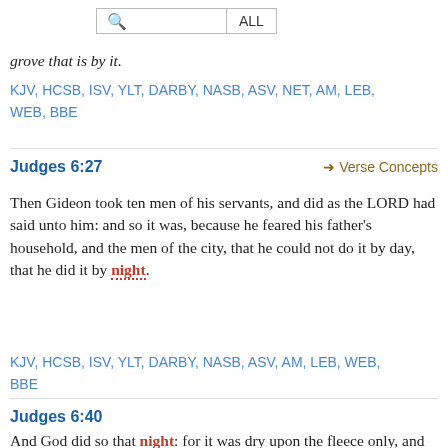grove that is by it.
KJV, HCSB, ISV, YLT, DARBY, NASB, ASV, NET, AM, LEB, WEB, BBE
Judges 6:27
➔ Verse Concepts
Then Gideon took ten men of his servants, and did as the LORD had said unto him: and so it was, because he feared his father's household, and the men of the city, that he could not do it by day, that he did it by night.
KJV, HCSB, ISV, YLT, DARBY, NASB, ASV, AM, LEB, WEB, BBE
Judges 6:40
And God did so that night: for it was dry upon the fleece only, and there was dew on all the ground.
KJV, HCSB, ISV, YLT, DARBY, NASB, ASV, NET, AM, LEB,